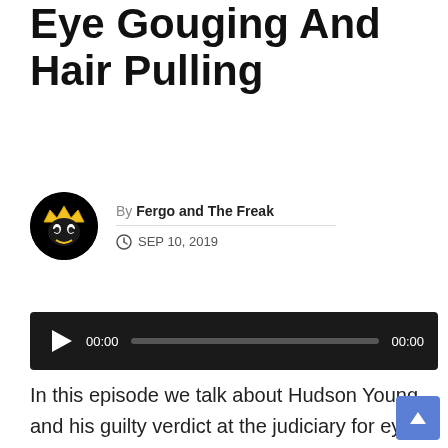Eye Gouging And Hair Pulling
By Fergo and The Freak
SEP 10, 2019
[Figure (other): Audio player with play button, progress bar, and timestamps 00:00 / 00:00]
In this episode we talk about Hudson Young and his guilty verdict at the judiciary for eye gouging, we then talk about Jared Waerea-Hargreaves and his not guilty verdict for contact with a players head and we talk about Sam Burgess suspension for hair pulling.